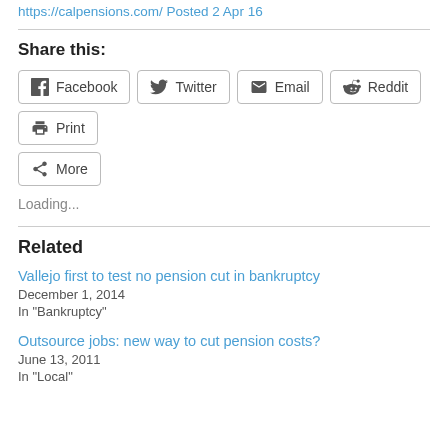https://calpensions.com/ Posted 2 Apr 16
Share this:
Facebook  Twitter  Email  Reddit  Print  More
Loading...
Related
Vallejo first to test no pension cut in bankruptcy
December 1, 2014
In "Bankruptcy"
Outsource jobs: new way to cut pension costs?
June 13, 2011
In "Local"